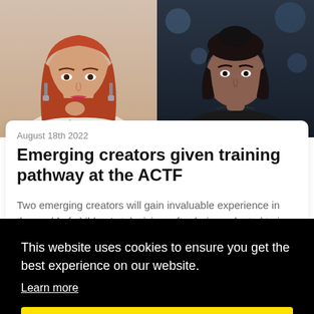[Figure (photo): Two headshot photos side by side: left is a woman with long red hair wearing a white patterned top; right is a woman with dark hair wearing a black top against a dark background.]
August 18th 2022
Emerging creators given training pathway at the ACTF
Two emerging creators will gain invaluable experience in the world of children's television, after being selected to j
This website uses cookies to ensure you get the best experience on our website.
Learn more
Got it!